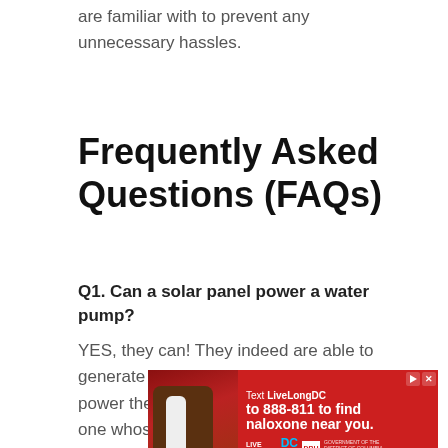are familiar with to prevent any unnecessary hassles.
Frequently Asked Questions (FAQs)
Q1. Can a solar panel power a water pump?
YES, they can! They indeed are able to generate awesome power which in turn might power the water pumps. You have to settle on one whose
[Figure (photo): Advertisement banner on red background: 'Text LiveLongDC to 888-811 to find naloxone near you.' with Live Long DC and DBH logos, showing a hand holding a nasal spray.]